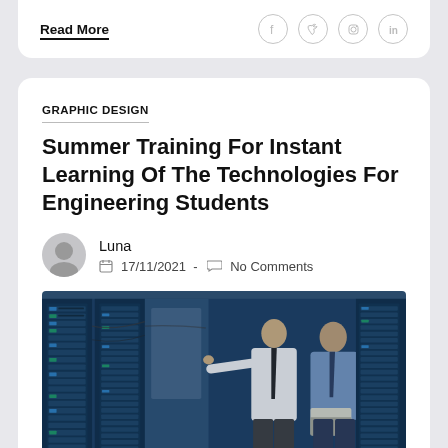Read More
GRAPHIC DESIGN
Summer Training For Instant Learning Of The Technologies For Engineering Students
Luna
17/11/2021 - No Comments
[Figure (photo): Two men in business attire examining server racks in a data center. One man points at equipment while the other holds a laptop.]